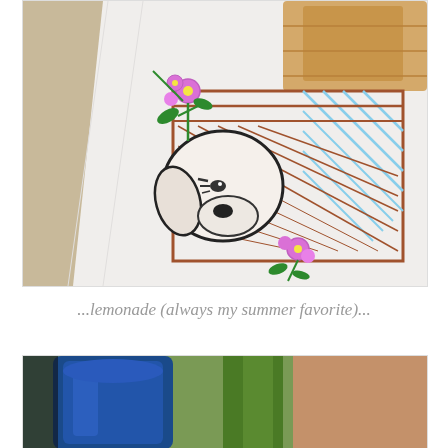[Figure (photo): Close-up photo of a white kitchen towel with embroidery showing a puppy sitting in a basket, with pink flowers and green leaves. The towel is draped over what appears to be a basket with bread. The embroidery uses brown, black, blue, pink, and green thread.]
...lemonade (always my summer favorite)...
[Figure (photo): Partial close-up photo showing a blue ceramic pitcher or jug, with a green background element, likely depicting lemonade or a summer drink setting.]